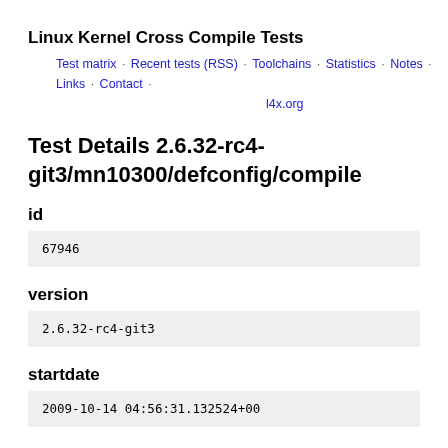Linux Kernel Cross Compile Tests
Test matrix · Recent tests (RSS) · Toolchains · Statistics · Notes · Links · Contact · l4x.org
Test Details 2.6.32-rc4-git3/mn10300/defconfig/compile
id
67946
version
2.6.32-rc4-git3
startdate
2009-10-14 04:56:31.132524+00
enddate